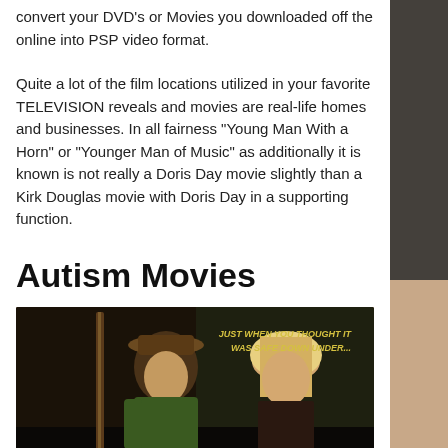convert your DVD's or Movies you downloaded off the online into PSP video format.
Quite a lot of the film locations utilized in your favorite TELEVISION reveals and movies are real-life homes and businesses. In all fairness “Young Man With a Horn” or “Younger Man of Music” as additionally it is known is not really a Doris Day movie slightly than a Kirk Douglas movie with Doris Day in a supporting function.
Autism Movies
[Figure (photo): Movie poster showing a man with a hat and rifle and a blonde woman, with tagline text 'JUST WHEN YOU THOUGHT IT WAS SAFE DOWN UNDER...' in yellow italic text on a dark background.]